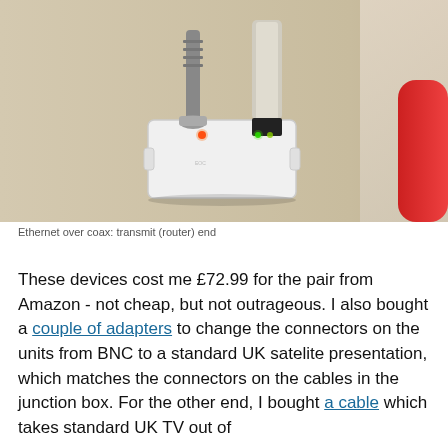[Figure (photo): A white rectangular networking device (Ethernet over coax adapter) sitting on a beige surface. Two cables are plugged into the top: a coaxial BNC connector on the left with a glowing red LED, and an Ethernet cable on the right with green LEDs. A red object is partially visible on the right edge of the frame.]
Ethernet over coax: transmit (router) end
These devices cost me £72.99 for the pair from Amazon - not cheap, but not outrageous. I also bought a couple of adapters to change the connectors on the units from BNC to a standard UK satelite presentation, which matches the connectors on the cables in the junction box. For the other end, I bought a cable which takes standard UK TV out of